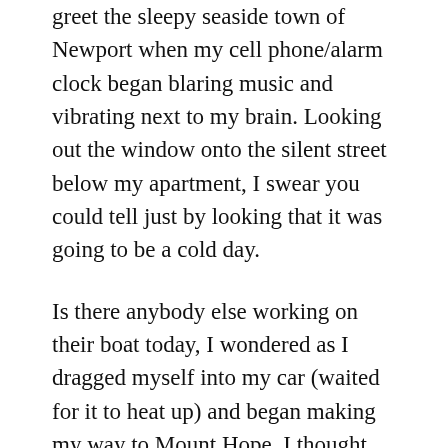greet the sleepy seaside town of Newport when my cell phone/alarm clock began blaring music and vibrating next to my brain. Looking out the window onto the silent street below my apartment, I swear you could tell just by looking that it was going to be a cold day.
Is there anybody else working on their boat today, I wondered as I dragged myself into my car (waited for it to heat up) and began making my way to Mount Hope. I thought we would be gluing the four sides of the mast together today.
After chatting about our goals for the day, our breathe visible in the air, Jim told me that